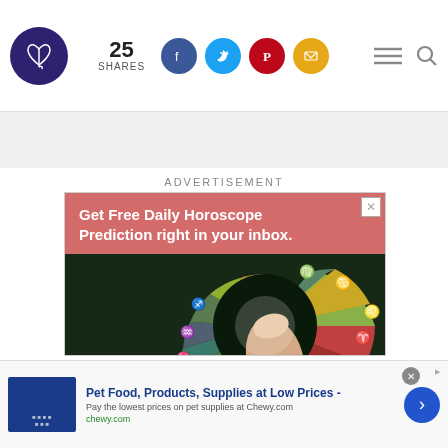25 SHARES — social share buttons — menu and search icons
ADVERTISEMENT
[Figure (screenshot): Advertisement banner: 'Get Free Daily Horoscope Prediction right in your inbox.' with zodiac wheel image showing a finger pointing at zodiac signs wheel on dark background]
[Figure (screenshot): Bottom advertisement bar for Chewy.com: 'Pet Food, Products, Supplies at Low Prices - Pay the lowest prices on pet supplies at Chewy.com' with blue arrow button and close button]